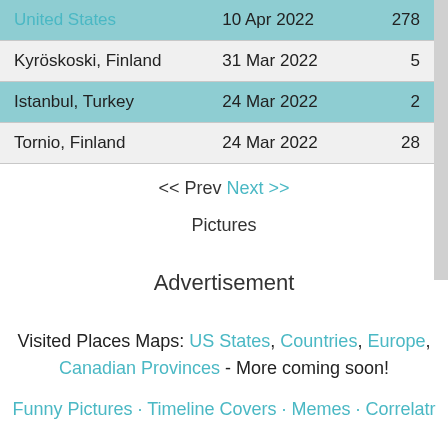| Location | Date | Count |
| --- | --- | --- |
| United States | 10 Apr 2022 | 278 |
| Kyröskoski, Finland | 31 Mar 2022 | 5 |
| Istanbul, Turkey | 24 Mar 2022 | 2 |
| Tornio, Finland | 24 Mar 2022 | 28 |
<< Prev Next >>
Pictures
Advertisement
Visited Places Maps: US States, Countries, Europe, Canadian Provinces - More coming soon!
Funny Pictures · Timeline Covers · Memes · Correlatr